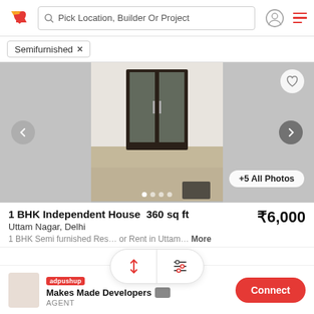[Figure (screenshot): Navigation bar with logo, search field 'Pick Location, Builder Or Project', user icon, and hamburger menu]
Semifurnished ×
[Figure (photo): Interior photo of a room with glass door and tiled floor; carousel with left/right navigation arrows, heart/favorite button, +5 All Photos button, and dot indicators]
1 BHK Independent House  360 sq ft
₹6,000
Uttam Nagar, Delhi
1 BHK Semi furnished Res… or Rent in Uttam…  More
[Figure (infographic): Sort and filter overlay buttons with up-down arrows and sliders icon]
adpushup
Makes Made Developers
AGENT
Connect